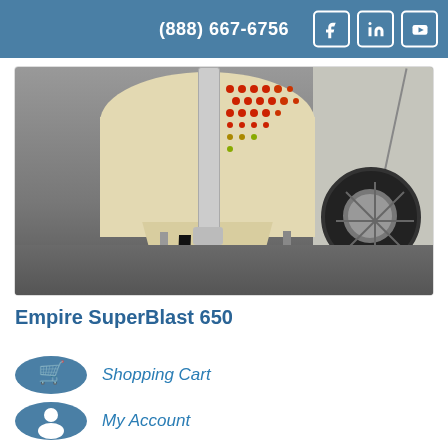(888) 667-6756
[Figure (photo): Empire SuperBlast 650 sandblast machine/pressure pot on wheels, showing the lower portion with hose, valve assembly, and large rubber wheel. Tank is cream/beige colored with red dot pattern logo.]
Empire SuperBlast 650
Shopping Cart
My Account